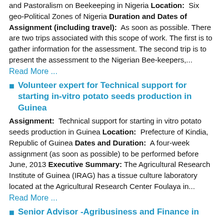and Pastoralism on Beekeeping in Nigeria Location: Six geo-Political Zones of Nigeria Duration and Dates of Assignment (including travel): As soon as possible. There are two trips associated with this scope of work. The first is to gather information for the assessment. The second trip is to present the assessment to the Nigerian Bee-keepers,...
Read More ...
Volunteer expert for Technical support for starting in-vitro potato seeds production in Guinea
Assignment: Technical support for starting in vitro potato seeds production in Guinea Location: Prefecture of Kindia, Republic of Guinea Dates and Duration: A four-week assignment (as soon as possible) to be performed before June, 2013 Executive Summary: The Agricultural Research Institute of Guinea (IRAG) has a tissue culture laboratory located at the Agricultural Research Center Foulaya in...
Read More ...
Senior Advisor -Agribusiness and Finance in